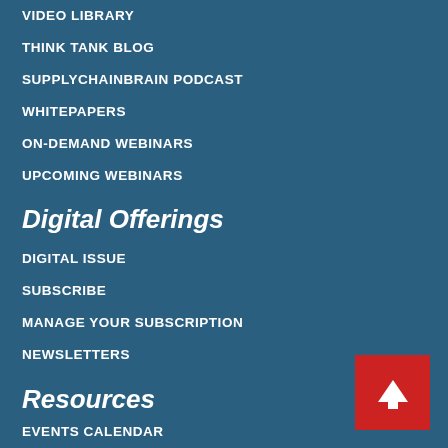VIDEO LIBRARY
THINK TANK BLOG
SUPPLYCHAINBRAIN PODCAST
WHITEPAPERS
ON-DEMAND WEBINARS
UPCOMING WEBINARS
Digital Offerings
DIGITAL ISSUE
SUBSCRIBE
MANAGE YOUR SUBSCRIPTION
NEWSLETTERS
Resources
EVENTS CALENDAR
SCRI'S GREAT SUPPLY CHAIN PARTNERS